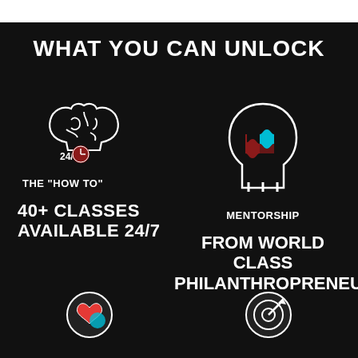WHAT YOU CAN UNLOCK
[Figure (illustration): Brain icon with 24/7 clock badge, white outline on dark background]
THE “HOW TO”
40+ CLASSES AVAILABLE 24/7
[Figure (illustration): Human head silhouette with puzzle pieces (red and cyan) inside, white outline on dark background]
MENTORSHIP
FROM WORLD CLASS PHILANTHROPRENEURS
[Figure (illustration): Heart with hands icon (partial, bottom left), white/teal/red on dark background]
[Figure (illustration): Target/bullseye with arrow icon (partial, bottom right), white outline on dark background]